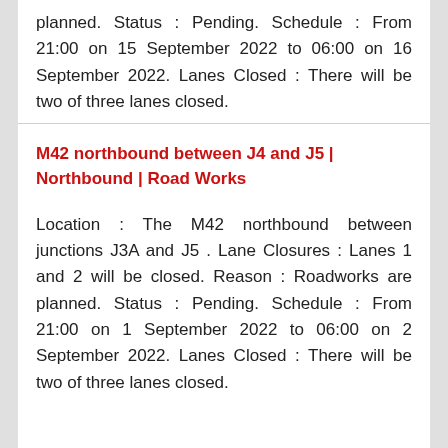planned. Status : Pending. Schedule : From 21:00 on 15 September 2022 to 06:00 on 16 September 2022. Lanes Closed : There will be two of three lanes closed.
M42 northbound between J4 and J5 | Northbound | Road Works
Location : The M42 northbound between junctions J3A and J5 . Lane Closures : Lanes 1 and 2 will be closed. Reason : Roadworks are planned. Status : Pending. Schedule : From 21:00 on 1 September 2022 to 06:00 on 2 September 2022. Lanes Closed : There will be two of three lanes closed.